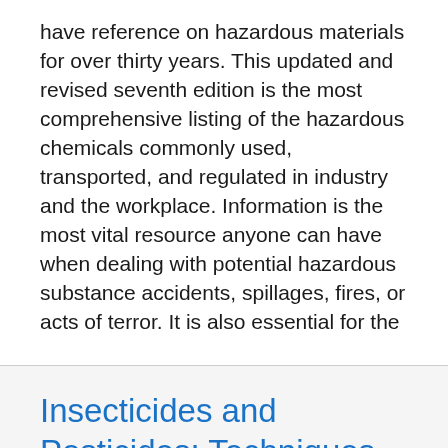have reference on hazardous materials for over thirty years. This updated and revised seventh edition is the most comprehensive listing of the hazardous chemicals commonly used, transported, and regulated in industry and the workplace. Information is the most vital resource anyone can have when dealing with potential hazardous substance accidents, spillages, fires, or acts of terror. It is also essential for the
Insecticides and Pesticides: Techniques for Crop Protection